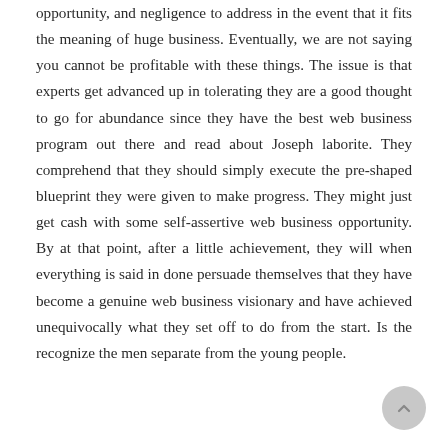opportunity, and negligence to address in the event that it fits the meaning of huge business. Eventually, we are not saying you cannot be profitable with these things. The issue is that experts get advanced up in tolerating they are a good thought to go for abundance since they have the best web business program out there and read about Joseph laborite. They comprehend that they should simply execute the pre-shaped blueprint they were given to make progress. They might just get cash with some self-assertive web business opportunity. By at that point, after a little achievement, they will when everything is said in done persuade themselves that they have become a genuine web business visionary and have achieved unequivocally what they set off to do from the start. Is the recognize the men separate from the young people.